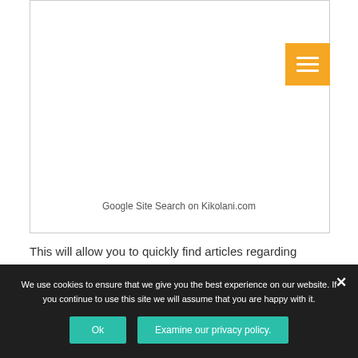[Figure (screenshot): Screenshot of a website page showing Google Site Search on Kikolani.com with an orange hamburger menu button in the top-right corner of the content box]
Google Site Search on Kikolani.com
This will allow you to quickly find articles regarding
We use cookies to ensure that we give you the best experience on our website. If you continue to use this site we will assume that you are happy with it.
Ok
Examine our privacy policy.